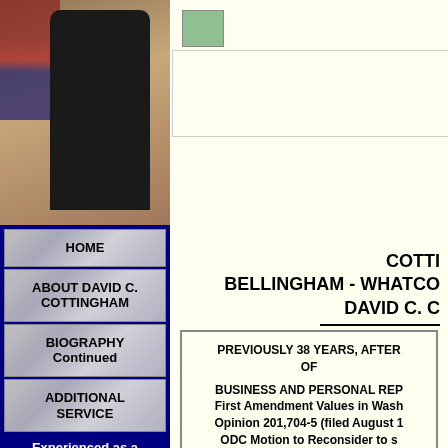[Figure (photo): Portrait photo of David C. Cottingham in a dark suit with tie, standing next to a podium with an American flag in the background]
HOME
ABOUT DAVID C. COTTINGHAM
BIOGRAPHY Continued
ADDITIONAL SERVICE
Experienced as a Private Attorney
[Figure (photo): Small thumbnail image (likely a logo or photo)]
COTTINGHAM
BELLINGHAM - WHATCOM
DAVID C. C
PREVIOUSLY 38 YEARS, AFTER OF
BUSINESS AND PERSONAL REP
First Amendment Values in Wash Opinion 201,704-5 (filed August 1 ODC Motion to Reconsider to st